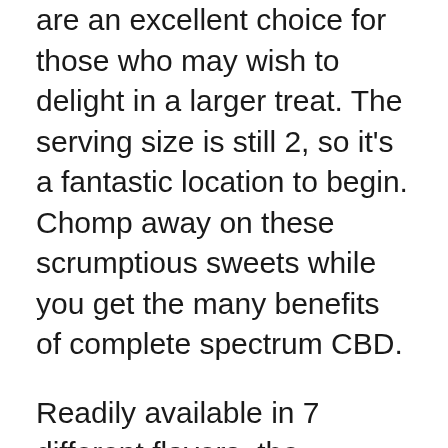are an excellent choice for those who may wish to delight in a larger treat. The serving size is still 2, so it's a fantastic location to begin. Chomp away on these scrumptious sweets while you get the many benefits of complete spectrum CBD.
Readily available in 7 different flavors, the Gummies are THC complimentary and made with natural CBD oil. With 14 sweets per bag, you can treat yourself to a pop of taste anytime. These helpful little flavor bombs are normally $13, but you can get them on sale for $9.
Diamond CBD Yum Yum Gummies Evaluation